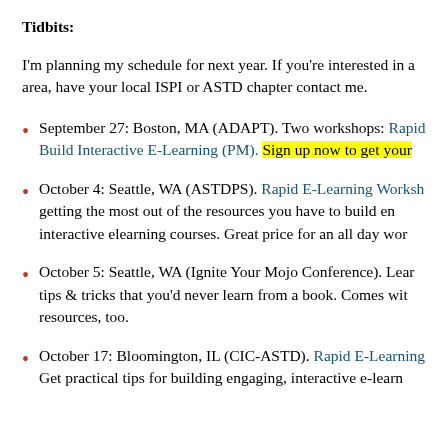Tidbits:
I'm planning my schedule for next year. If you're interested in a area, have your local ISPI or ASTD chapter contact me.
September 27: Boston, MA (ADAPT). Two workshops: Rapid Build Interactive E-Learning (PM). Sign up now to get your
October 4: Seattle, WA (ASTDPS). Rapid E-Learning Worksh getting the most out of the resources you have to build en interactive elearning courses. Great price for an all day wor
October 5: Seattle, WA (Ignite Your Mojo Conference). Lear tips & tricks that you'd never learn from a book. Comes wit resources, too.
October 17: Bloomington, IL (CIC-ASTD). Rapid E-Learning Get practical tips for building engaging, interactive e-learn